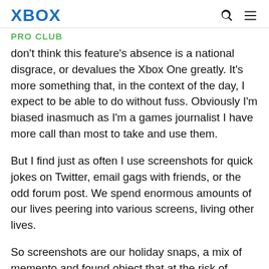XBOX
PRO CLUB
don't think this feature's absence is a national disgrace, or devalues the Xbox One greatly. It's more something that, in the context of the day, I expect to be able to do without fuss. Obviously I'm biased inasmuch as I'm a games journalist I have more call than most to take and use them.
But I find just as often I use screenshots for quick jokes on Twitter, email gags with friends, or the odd forum post. We spend enormous amounts of our lives peering into various screens, living other lives.
So screenshots are our holiday snaps, a mix of memento and found object that at the risk of getting philosophical are also curated. We take screenshots for other people to look at. And they're simply part of the landscape for how